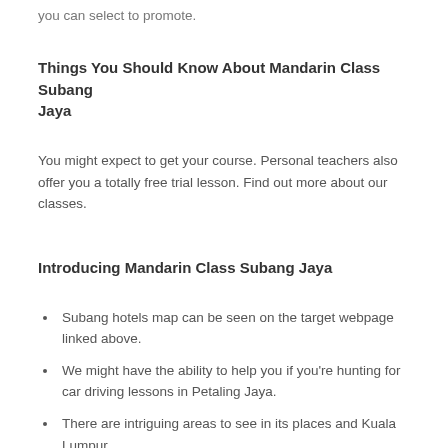you can select to promote.
Things You Should Know About Mandarin Class Subang Jaya
You might expect to get your course. Personal teachers also offer you a totally free trial lesson. Find out more about our classes.
Introducing Mandarin Class Subang Jaya
Subang hotels map can be seen on the target webpage linked above.
We might have the ability to help you if you're hunting for car driving lessons in Petaling Jaya.
There are intriguing areas to see in its places and Kuala Lumpur.
For any advice on how best to get around or what things to do in the region guests can ask at the reception.
On the subsequent day, Vista Jet, a business jet supplier...